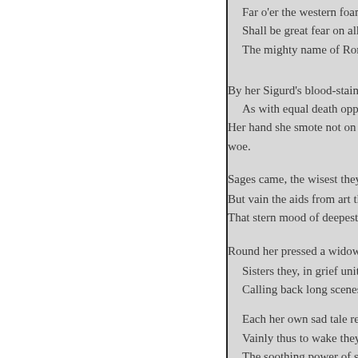Far o'er the western foam,
Shall be great fear on all wh
The mighty name of Rome

By her Sigurd's blood-stained bi
As with equal death opprest, O
Her hand she smote not on her b
woe.

Sages came, the wisest they,
But vain the aids from art they b
That stern mood of deepest sorro

Round her pressed a widowed tra
Sisters they, in grief unite
Calling back long scenes of

Each her own sad tale reci
Vainly thus to wake they try
The soothing power of sym